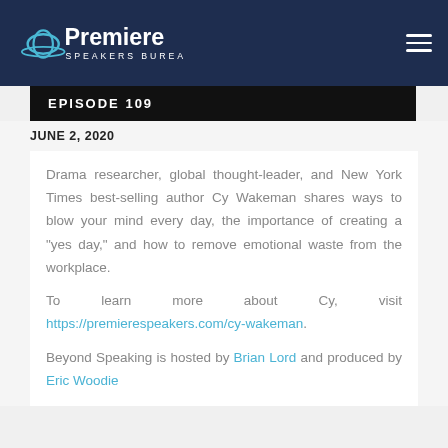Premiere Speakers Bureau
EPISODE 109
JUNE 2, 2020
Drama researcher, global thought-leader, and New York Times best-selling author Cy Wakeman shares ways to blow your mind every day, the importance of creating a "yes day," and how to remove emotional waste from the workplace.
To learn more about Cy, visit https://premierespeakers.com/cy-wakeman.
Beyond Speaking is hosted by Brian Lord and produced by Eric Woodie